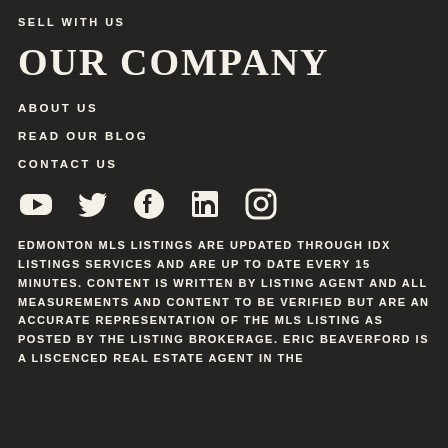SELL WITH US
OUR COMPANY
ABOUT US
READ OUR BLOG
CONTACT US
[Figure (infographic): Social media icons: YouTube, Twitter, Facebook, LinkedIn, Instagram]
EDMONTON MLS LISTINGS ARE UPDATED THROUGH IDX LISTINGS SERVICES AND ARE UP TO DATE EVERY 15 MINUTES. CONTENT IS WRITTEN BY LISTING AGENT AND ALL MEASUREMENTS AND CONTENT TO BE VERIFIED BUT ARE AN ACCURATE REPRESENTATION OF THE MLS LISTING AS POSTED BY THE LISTING BROKERAGE. ERIC BEAVERFORD IS A LISCENCED REAL ESTATE AGENT IN THE